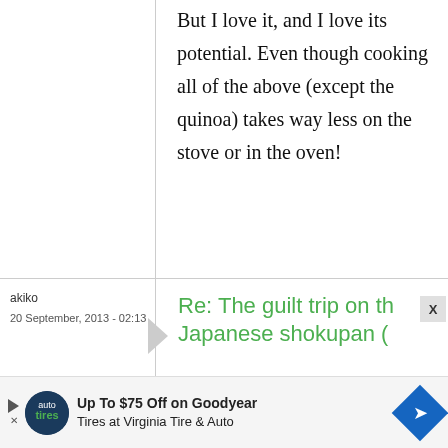But I love it, and I love its potential. Even though cooking all of the above (except the quinoa) takes way less on the stove or in the oven!
akiko
20 September, 2013 - 02:13
Re: The guilt trip on the Japanese shokupan (
[Figure (other): Advertisement banner: Up To $75 Off on Goodyear Tires at Virginia Tire & Auto, with play/close button, logo, and blue diamond arrow icon]